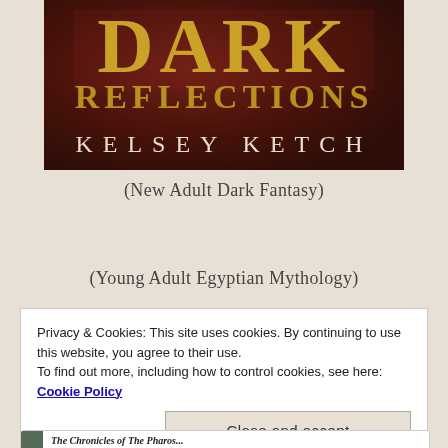[Figure (illustration): Book cover for 'Dark Reflections' by Kelsey Ketch. Dark reddish-brown textured background with large gold serif letters spelling 'DARK' at the top and 'REFLECTIONS' below it, and 'KELSEY KETCH' at the bottom in white/cream serif letters.]
(New Adult Dark Fantasy)
(Young Adult Egyptian Mythology)
Privacy & Cookies: This site uses cookies. By continuing to use this website, you agree to their use.
To find out more, including how to control cookies, see here: Cookie Policy
Close and accept